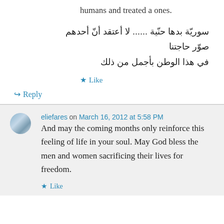humans and treated a ones.
سوريّة بدها حنّية ...... لا أعتقد أنّ أحدهم صوّر حاجتنا في هذا الوطن بأجمل من ذلك
★ Like
↪ Reply
eliefares on March 16, 2012 at 5:58 PM
And may the coming months only reinforce this feeling of life in your soul. May God bless the men and women sacrificing their lives for freedom.
★ Like